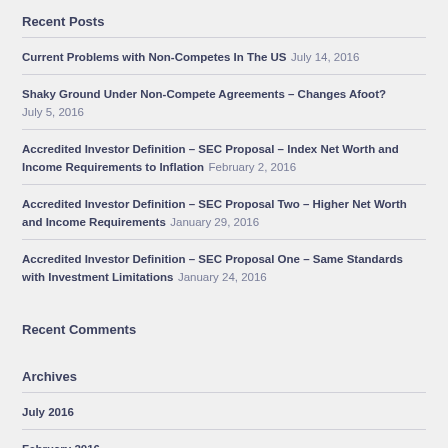Recent Posts
Current Problems with Non-Competes In The US July 14, 2016
Shaky Ground Under Non-Compete Agreements – Changes Afoot? July 5, 2016
Accredited Investor Definition – SEC Proposal – Index Net Worth and Income Requirements to Inflation February 2, 2016
Accredited Investor Definition – SEC Proposal Two – Higher Net Worth and Income Requirements January 29, 2016
Accredited Investor Definition – SEC Proposal One – Same Standards with Investment Limitations January 24, 2016
Recent Comments
Archives
July 2016
February 2016